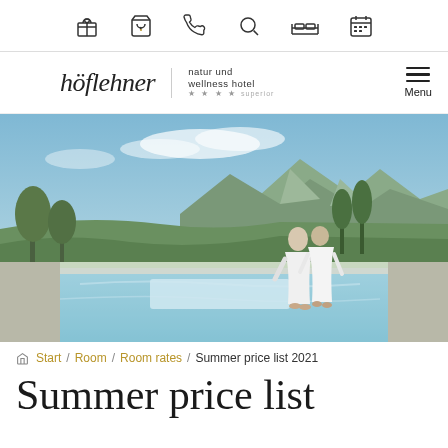[icon bar: gift, bag, phone, search, bed, calendar]
[Figure (logo): Höflehner natur und wellness hotel **** superior logo with script wordmark and Menu button]
[Figure (photo): Two people in white bathrobes standing at the edge of an infinity pool overlooking a mountain valley landscape with green hills and blue sky]
Start / Room / Room rates / Summer price list 2021
Summer price list